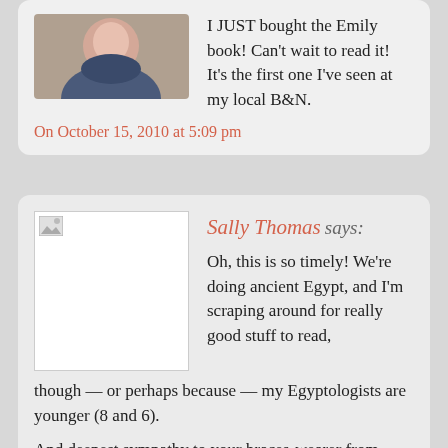I JUST bought the Emily book! Can't wait to read it! It's the first one I've seen at my local B&N.
On October 15, 2010 at 5:09 pm
Sally Thomas says:
Oh, this is so timely! We're doing ancient Egypt, and I'm scraping around for really good stuff to read, though — or perhaps because — my Egyptologists are younger (8 and 6).
And deepest sympathy to your braces-wearer from mine. He got his on at the end of August, if memory serves me, or possibly the first week of September. Memory does not serve me that well. But tonight he was remarking that it's hard to eat chicken off the bone, because the braces make you bounce